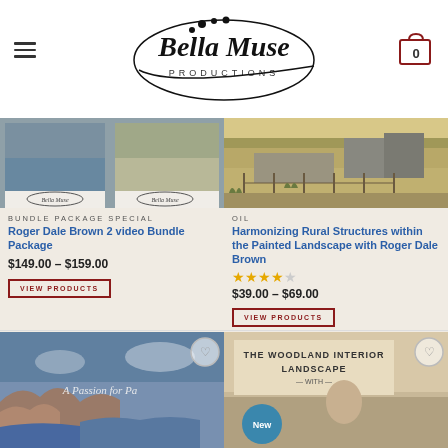Bella Muse Productions
[Figure (illustration): Bella Muse Productions logo with stylized script text and oval shape]
[Figure (photo): Bundle package product image showing two painting videos by Roger Dale Brown]
BUNDLE PACKAGE SPECIAL
Roger Dale Brown 2 video Bundle Package
$149.00 – $159.00
VIEW PRODUCTS
[Figure (photo): Landscape photo showing rural structures, fence posts, and fields with muted golden tones]
OIL
Harmonizing Rural Structures within the Painted Landscape with Roger Dale Brown
$39.00 – $69.00
VIEW PRODUCTS
[Figure (photo): Coastal painting image with rocky cliffs and ocean waves, text reads A Passion for Pa...]
[Figure (photo): The Woodland Interior Landscape promotional image with New badge]